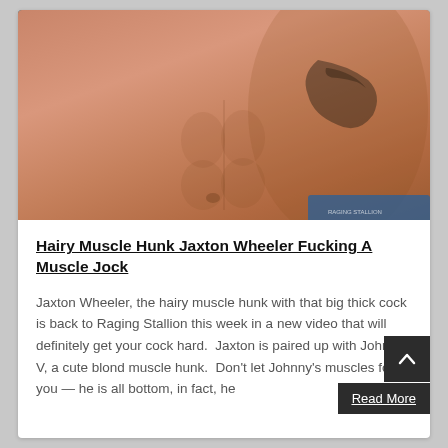[Figure (photo): Close-up photo of a muscular male torso against a teal background, showing defined abs and a tattoo on the chest/side area]
Hairy Muscle Hunk Jaxton Wheeler Fucking A Muscle Jock
Jaxton Wheeler, the hairy muscle hunk with that big thick cock is back to Raging Stallion this week in a new video that will definitely get your cock hard.  Jaxton is paired up with Johnny V, a cute blond muscle hunk.  Don't let Johnny's muscles fool you — he is all bottom, in fact, he
Read More